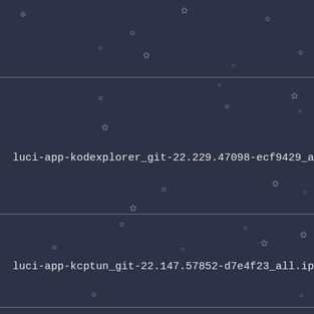luci-app-kodexplorer_git-22.229.47098-ecf9429_all.ipk
luci-app-kcptun_git-22.147.57852-d7e4f23_all.ipk
chat_2.4.9.git-2021-01-04-17_aarch64_cortex-a72.ipk